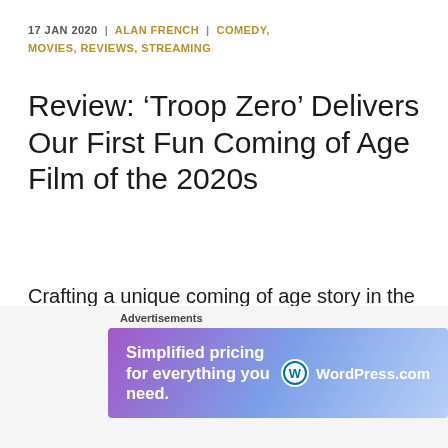17 JAN 2020  |  ALAN FRENCH  |  COMEDY, MOVIES, REVIEWS, STREAMING
Review: ‘Troop Zero’ Delivers Our First Fun Coming of Age Film of the 2020s
Crafting a unique coming of age story in the 2020s will be a difficult task for any storyteller. The last decade featured dozens of unique stories featuring young adults finding their way in the world. Even many of our greatest filmmakers took up the
[Figure (other): Advertisement banner for WordPress.com: 'Simplified pricing for everything you need.' with WordPress.com logo on gradient purple-blue background.]